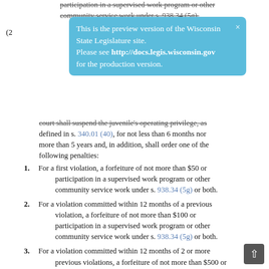participation in a supervised work program or other community service work under s. 938.34 (5g).
[Figure (infographic): Blue tooltip banner overlay: 'This is the preview version of the Wisconsin State Legislature site. Please see http://docs.legis.wisconsin.gov for the production version.']
court shall suspend the juvenile's operating privilege, as defined in s. 340.01 (40), for not less than 6 months nor more than 5 years and, in addition, shall order one of the following penalties:
1. For a first violation, a forfeiture of not more than $50 or participation in a supervised work program or other community service work under s. 938.34 (5g) or both.
2. For a violation committed within 12 months of a previous violation, a forfeiture of not more than $100 or participation in a supervised work program or other community service work under s. 938.34 (5g) or both.
3. For a violation committed within 12 months of 2 or more previous violations, a forfeiture of not more than $500 or participation in a supervised work program or other community service work under s. 938.34 (5g) or both.
(b) Whenever a court suspends a juvenile's operating privilege under this subsection, the court may take possession of any suspended license. If the court takes possession of a lice it shall destroy the license. The court shall forward to th